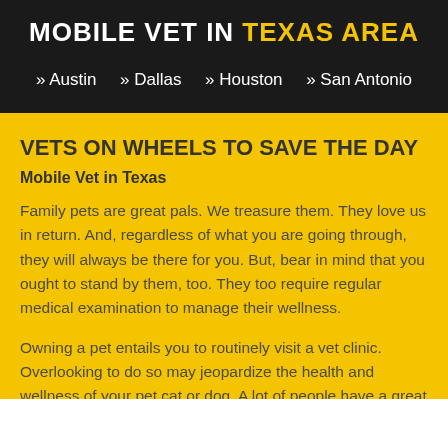MOBILE VET IN TEXAS AREA
» Austin   » Dallas   » Houston   » San Antonio
VETS ON WHEELS TO SAVE THE DAY
Mobile Vet in Texas
Family pets are great pals. We treasure them. They love us in return. And, regardless of what you are going through, they will always be there for you. But, bear in mind that you ought to stand by them, too. They too require regular medical examination to manage their wellness.
Owning a pet entails you to routinely visit a vet clinic. Overlooking to do so may jeopardize the health and wellness of your pet cat or dog. A lot of people have a great deal of love for their